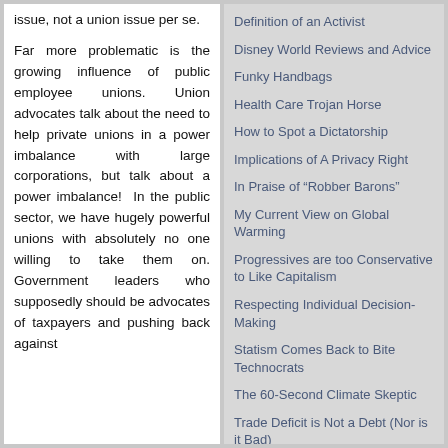issue, not a union issue per se.
Far more problematic is the growing influence of public employee unions. Union advocates talk about the need to help private unions in a power imbalance with large corporations, but talk about a power imbalance!  In the public sector, we have hugely powerful unions with absolutely no one willing to take them on. Government leaders who supposedly should be advocates of taxpayers and pushing back against
Definition of an Activist
Disney World Reviews and Advice
Funky Handbags
Health Care Trojan Horse
How to Spot a Dictatorship
Implications of A Privacy Right
In Praise of "Robber Barons"
My Current View on Global Warming
Progressives are too Conservative to Like Capitalism
Respecting Individual Decision-Making
Statism Comes Back to Bite Technocrats
The 60-Second Climate Skeptic
Trade Deficit is Not a Debt (Nor is it Bad)
Wealth Creation and the Zero Sum Economics Fallacy
Why the Right to Vote is Not What Made America Great